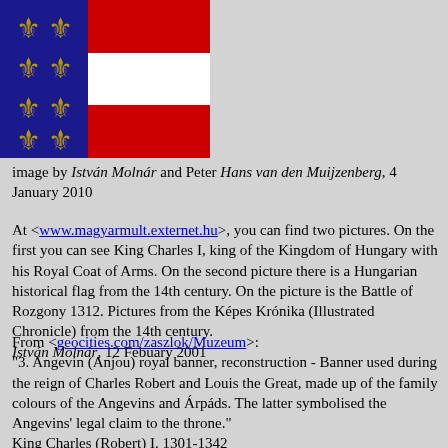[Figure (illustration): Combined image: left side shows a blue coat of arms with golden fleur-de-lis symbols on a blue background; right side shows the Hungarian flag with red, white, red horizontal stripes.]
image by István Molnár and Peter Hans van den Muijzenberg, 4 January 2010
At <www.magyarmult.externet.hu>, you can find two pictures. On the first you can see King Charles I, king of the Kingdom of Hungary with his Royal Coat of Arms. On the second picture there is a Hungarian historical flag from the 14th century. On the picture is the Battle of Rozgony 1312. Pictures from the Képes Krónika (Illustrated Chronicle) from the 14th century.
István Molnár, 12 Febuary 2001
From <geocities.com/zaszlok/Muzeum>:
"3. Angevin (Anjou) royal banner, reconstruction - Banner used during the reign of Charles Robert and Louis the Great, made up of the family colours of the Angevins and Árpáds. The latter symbolised the Angevins' legal claim to the throne."
King Charles (Robert) I. 1301-1342
King Louis (the Great) I. 1342-1382
István Molnár, 15 June 2001